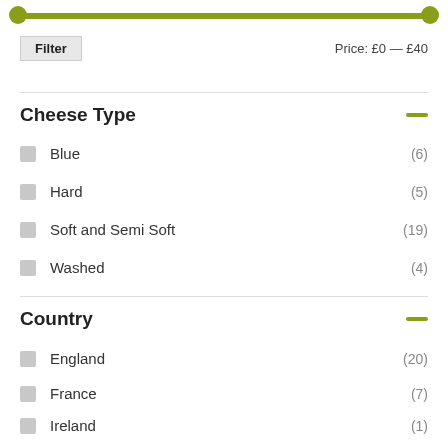[Figure (other): Price range slider from £0 to £40 with olive/green colored track and circular handles on both ends]
Filter
Price: £0 — £40
Cheese Type
Blue (6)
Hard (5)
Soft and Semi Soft (19)
Washed (4)
Country
England (20)
France (7)
Ireland (1)
Italy (4)